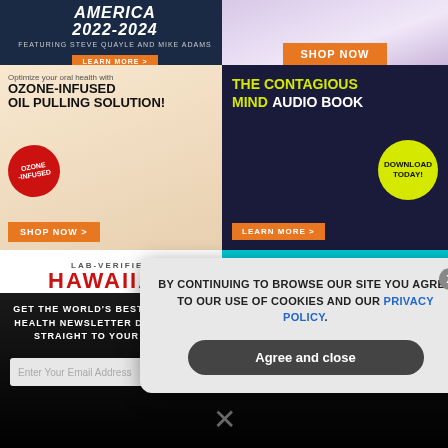[Figure (illustration): Top-left ad: dark navy background with text 'AMERICA 2022-2024 FEATURING STEVE QUAYLE AND MIKE ADAMS' with orange LEARN MORE button]
[Figure (illustration): Top-right ad: lavender/purple product image with orange SHOP NOW button]
[Figure (illustration): Middle-left ad: Ozone-Infused Oil Pulling Solution product ad with red badge, beige background, orange SHOP NOW button]
[Figure (illustration): Middle-right ad: The Contagious Mind Audio Book on dark navy background with yellow-green title and DOWNLOAD TODAY circle, orange LEARN MORE button]
[Figure (illustration): Bottom-left partial ad: LAB-VERIFIED HAWAIIAN text in red on white]
[Figure (illustration): Bottom-right partial ad: INTRODUCING on teal/cyan background]
GET THE WORLD'S BEST NATURAL HEALTH NEWSLETTER DELIVERED STRAIGHT TO YOUR INBOX
Enter Your Email Address
SUBSCRIBE
BY CONTINUING TO BROWSE OUR SITE YOU AGREE TO OUR USE OF COOKIES AND OUR PRIVACY POLICY.
Agree and close